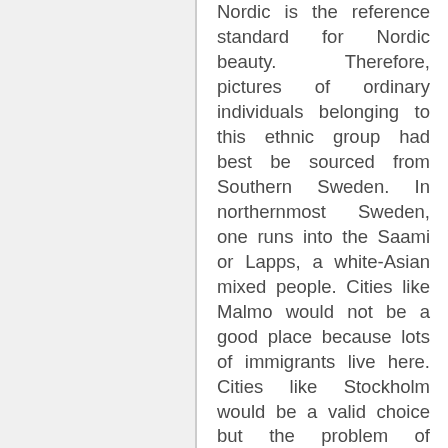Nordic is the reference standard for Nordic beauty. Therefore, pictures of ordinary individuals belonging to this ethnic group had best be sourced from Southern Sweden. In northernmost Sweden, one runs into the Saami or Lapps, a white-Asian mixed people. Cities like Malmo would not be a good place because lots of immigrants live here. Cities like Stockholm would be a valid choice but the problem of cosmopolitan cities is that they have their fare share of immigrants, and in the